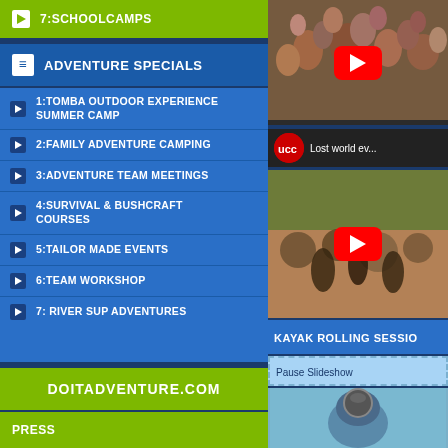7:SCHOOLCAMPS
ADVENTURE SPECIALS
1:TOMBA OUTDOOR EXPERIENCE SUMMER CAMP
2:FAMILY ADVENTURE CAMPING
3:ADVENTURE TEAM MEETINGS
4:SURVIVAL & BUSHCRAFT COURSES
5:TAILOR MADE EVENTS
6:TEAM WORKSHOP
7: RIVER SUP ADVENTURES
DOITADVENTURE.COM
PRESS
[Figure (screenshot): YouTube video thumbnail showing crowd of people]
[Figure (screenshot): YouTube video thumbnail showing UCC logo and 'Lost world ev...' outdoor adventure scene]
KAYAK ROLLING SESSIO
Pause Slideshow
[Figure (photo): Photo of kayak rolling session, person in water with helmet]